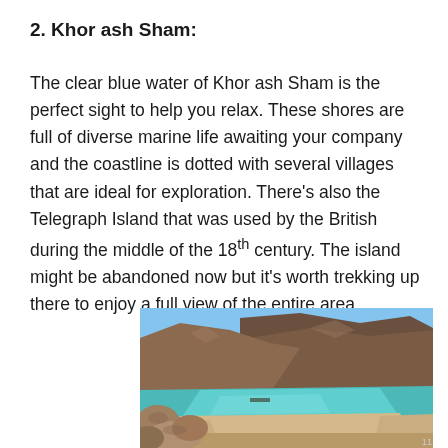2. Khor ash Sham:
The clear blue water of Khor ash Sham is the perfect sight to help you relax. These shores are full of diverse marine life awaiting your company and the coastline is dotted with several villages that are ideal for exploration. There’s also the Telegraph Island that was used by the British during the middle of the 18th century. The island might be abandoned now but it’s worth trekking up there to enjoy a full view of the entire area.
[Figure (photo): Photograph of Khor ash Sham showing turquoise waters of a coastal inlet surrounded by rocky mountains, with a sandy beach visible and large boulders in the foreground left.]